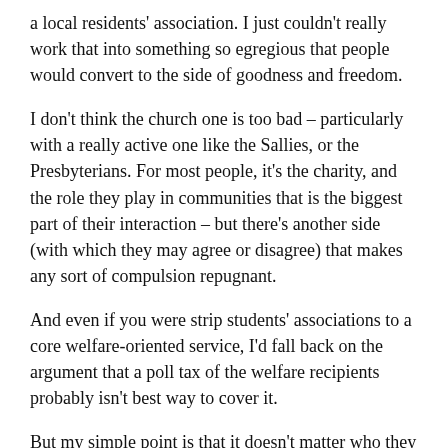a local residents' association. I just couldn't really work that into something so egregious that people would convert to the side of goodness and freedom.
I don't think the church one is too bad – particularly with a really active one like the Sallies, or the Presbyterians. For most people, it's the charity, and the role they play in communities that is the biggest part of their interaction – but there's another side (with which they may agree or disagree) that makes any sort of compulsion repugnant.
And even if you were strip students' associations to a core welfare-oriented service, I'd fall back on the argument that a poll tax of the welfare recipients probably isn't best way to cover it.
But my simple point is that it doesn't matter who they are or what they do, membership of anything remotely resembling a private organisation should be a matter of choice.
I suspect that came across … although I do note